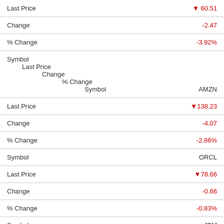| Field | Value |
| --- | --- |
| Last Price | ▼60.51 |
| Change | -2.47 |
| % Change | -3.92% |
| Symbol |  |
| Last Price (indented) |  |
| Change (indented) |  |
| % Change (indented) |  |
| Symbol | AMZN |
| Last Price | ▼138.23 |
| Change | -4.07 |
| % Change | -2.86% |
| Symbol | ORCL |
| Last Price | ▼78.66 |
| Change | -0.66 |
| % Change | -0.83% |
| Symbol | JPM |